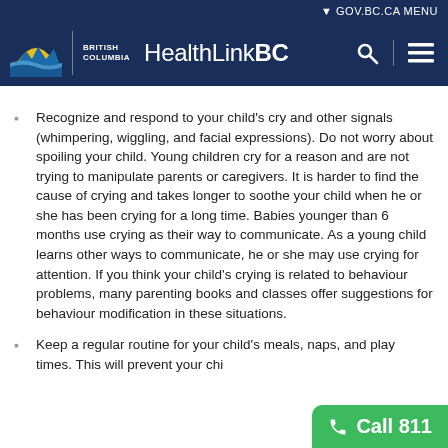GOV.BC.CA MENU
HealthLinkBC
Recognize and respond to your child's cry and other signals (whimpering, wiggling, and facial expressions). Do not worry about spoiling your child. Young children cry for a reason and are not trying to manipulate parents or caregivers. It is harder to find the cause of crying and takes longer to soothe your child when he or she has been crying for a long time. Babies younger than 6 months use crying as their way to communicate. As a young child learns other ways to communicate, he or she may use crying for attention. If you think your child's crying is related to behaviour problems, many parenting books and classes offer suggestions for behaviour modification in these situations.
Keep a regular routine for your child's meals, naps, and play times. This will prevent your chi...